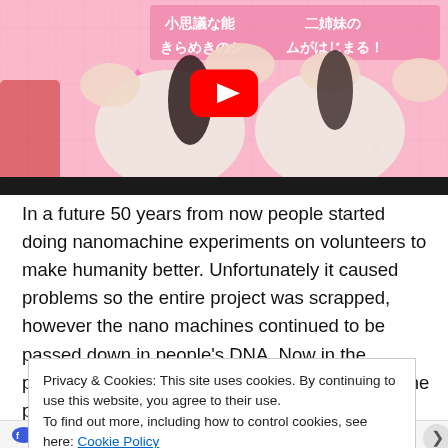[Figure (screenshot): Anime-style illustration with pink background showing two female characters in white outfits with sparkle effects and Japanese text. A YouTube play button overlay is visible in the center.]
In a future 50 years from now people started doing nanomachine experiments on volunteers to make humanity better. Unfortunately it caused problems so the entire project was scrapped, however the nano machines continued to be passed down in people's DNA. Now in the present day those with and without nano-machine powers coexist together but
Privacy & Cookies: This site uses cookies. By continuing to use this website, you agree to their use.
To find out more, including how to control cookies, see here: Cookie Policy
Close and accept